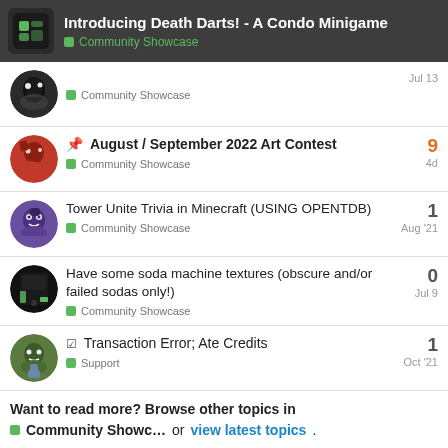Introducing Death Darts! - A Condo Minigame | Community Showcase
Community Showcase | Jul 13
[Pinned] August / September 2022 Art Contest | Community Showcase | 9 replies | 4d
Tower Unite Trivia in Minecraft (USING OPENTDB) | Community Showcase | 1 reply | Aug '21
Have some soda machine textures (obscure and/or failed sodas only!) | Community Showcase | 0 replies | Jul 9
[Solved] Transaction Error; Ate Credits | Support | 1 reply | Oct '21
Want to read more? Browse other topics in Community Showc... or view latest topics.